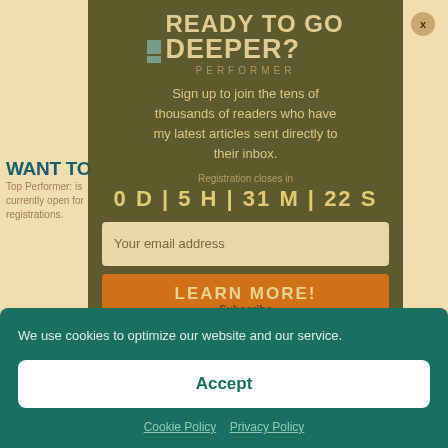[Figure (screenshot): Background webpage with tan/beige color, showing partial text 'WANT TO BE THE BEST AT WHAT YOU DO?' and 'Top Performer is currently open for registrations.' Also shows number 16 and REPLY link.]
[Figure (screenshot): Modal popup overlay with dark olive/khaki background. Shows 'READY TO GO DEEPER?' header with 'PERFORMER' subtitle, newsletter signup text 'Sign up to join the tens of thousands of readers who have my latest articles sent directly to their inbox.', countdown '0 D | 5 H | 31 M | 22 S', email input field, and orange LEARN MORE/Subscribe button. Close X button in top right.]
[Figure (screenshot): Cookie consent banner at bottom in teal/dark green color, with text 'We use cookies to optimize our website and our service.', Accept button in white, and Cookie Policy and Privacy Policy links.]